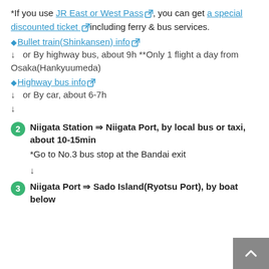*If you use JR East or West Pass, you can get a special discounted ticket including ferry & bus services.
◆Bullet train(Shinkansen) info
↓  or By highway bus, about 9h **Only 1 flight a day from Osaka(Hankyuumeda)
◆Highway bus info
↓  or By car, about 6-7h
↓
2 Niigata Station ⇒ Niigata Port, by local bus or taxi, about 10-15min
*Go to No.3 bus stop at the Bandai exit
↓
3 Niigata Port ⇒ Sado Island(Ryotsu Port), by boat below